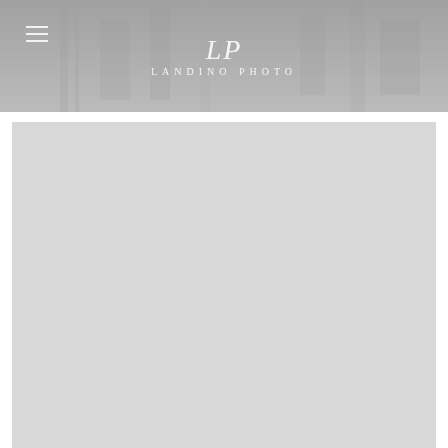[Figure (screenshot): Hero banner with architectural/nature photograph overlaid with semi-transparent grey. Shows LP monogram logo and LANDINO PHOTO text centered, with hamburger menu icon top left.]
[Figure (photo): Large light grey placeholder/image area below the hero banner, representing a photograph content block.]